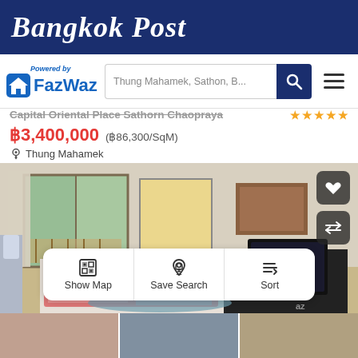Bangkok Post
[Figure (logo): FazWaz logo with house icon and 'Powered by' text above, next to a search bar with 'Thung Mahamek, Sathon, B...' placeholder and a dark blue search button and hamburger menu icon]
Capital Oriental Place Sathorn Chaopraya
฿3,400,000 (฿86,300/SqM)
Thung Mahamek
[Figure (photo): Interior photo of a bedroom/studio apartment with large sliding glass doors opening to a balcony with a green view, yellow curtain window, dark wood bed with colorful bedding, flat screen TV on a dark console table, and decorative items. Heart and swap icons overlay top right.]
Show Map  Save Search  Sort